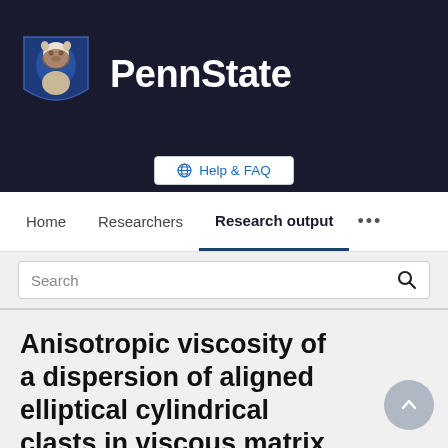[Figure (logo): Penn State University logo with shield mascot (Nittany Lion) and PennState text on dark navy background]
Help & FAQ
Home   Researchers   Research output   ...
Search
Anisotropic viscosity of a dispersion of aligned elliptical cylindrical clasts in viscous matrix